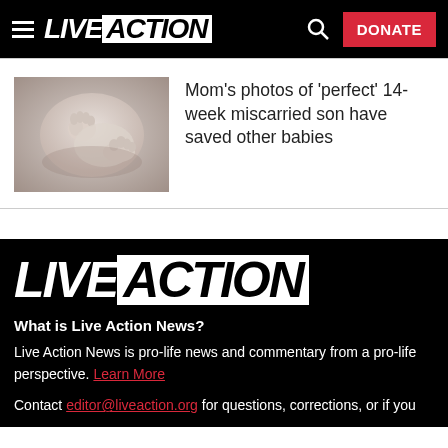LIVE ACTION — DONATE
[Figure (photo): Close-up grayscale photo of a small miscarried baby at 14 weeks, showing tiny hands and feet]
Mom's photos of 'perfect' 14-week miscarried son have saved other babies
[Figure (logo): LIVE ACTION logo in large white and black text on black background]
What is Live Action News?
Live Action News is pro-life news and commentary from a pro-life perspective. Learn More
Contact editor@liveaction.org for questions, corrections, or if you